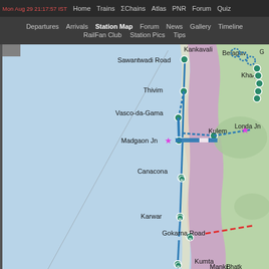Mon Aug 29 21:17:57 IST  Home  Trains  ΣChains  Atlas  PNR  Forum  Quiz
Departures  Arrivals  Station Map  Forum  News  Gallery  Timeline  RailFan Club  Station Pics  Tips
[Figure (map): Indian Railways station map showing the Konkan/Goa coastline railway route with stations: Kankavali (top), Sawantwadi Road, Thivim, Vasco-da-Gama, Kulem, Londa Jn, Madgaon Jn (with star marker), Canacona, Karwar, Gokarna Road, Kumta, Manki, Bhatkal. Railway lines shown in blue solid and dashed patterns. The western portion shows the Arabian Sea in light blue. Terrain is shown with purple/mauve coastal strip and green inland areas. Two magenta star markers visible near Londa Jn and Madgaon Jn. Red dashed line near Gokarna Road area.]